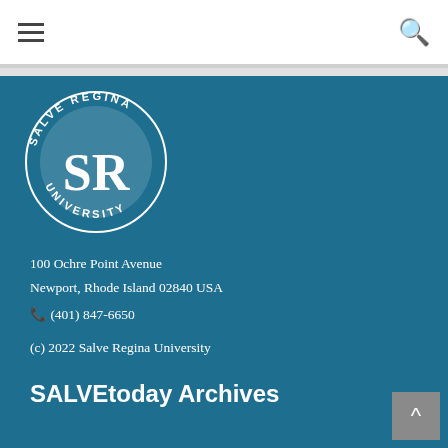[Figure (logo): Salve Regina University circular seal/logo in white on blue background]
100 Ochre Point Avenue
Newport, Rhode Island 02840 USA
(401) 847-6650
(c) 2022 Salve Regina University
SALVEtoday Archives